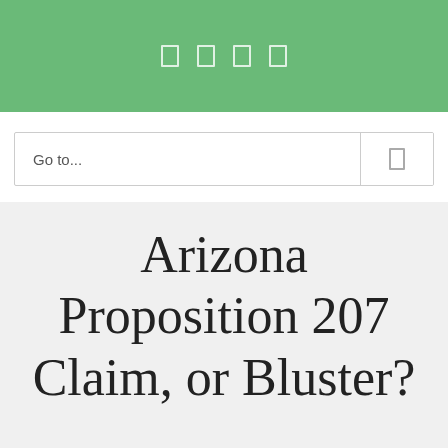navigation icons
Go to...
Arizona Proposition 207 Claim, or Bluster?